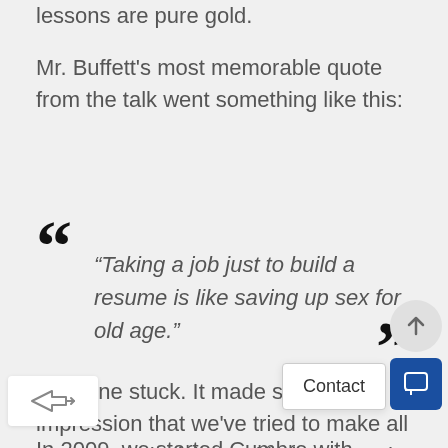lessons are pure gold.
Mr. Buffett's most memorable quote from the talk went something like this:
“Taking a job just to build a resume is like saving up sex for old age.”
That one stuck. It made such an impression that we’ve tried to make all our career decisions with these words front of mind
In 2009, we started Cumbre with